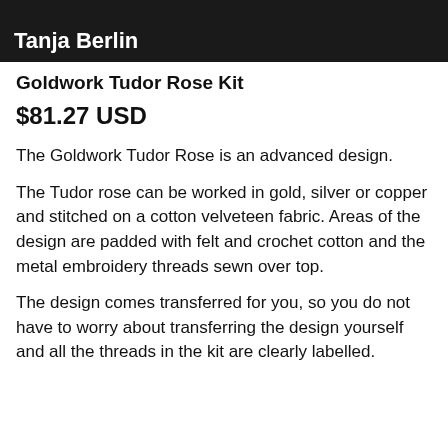[Figure (photo): Dark banner image with text 'Tanja Berlin' in white bold font on a black/dark background]
Goldwork Tudor Rose Kit
$81.27 USD
The Goldwork Tudor Rose is an advanced design.
The Tudor rose can be worked in gold, silver or copper and stitched on a cotton velveteen fabric. Areas of the design are padded with felt and crochet cotton and the metal embroidery threads sewn over top.
The design comes transferred for you, so you do not have to worry about transferring the design yourself and all the threads in the kit are clearly labelled.